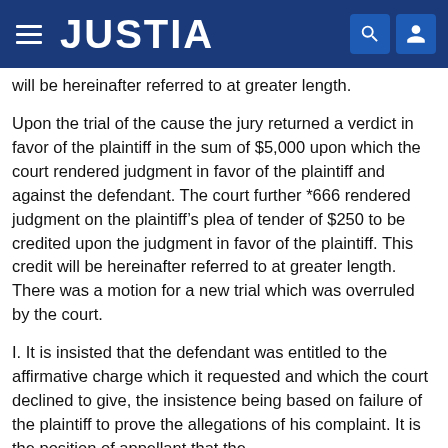JUSTIA
will be hereinafter referred to at greater length.
Upon the trial of the cause the jury returned a verdict in favor of the plaintiff in the sum of $5,000 upon which the court rendered judgment in favor of the plaintiff and against the defendant. The court further *666 rendered judgment on the plaintiff’s plea of tender of $250 to be credited upon the judgment in favor of the plaintiff. This credit will be hereinafter referred to at greater length. There was a motion for a new trial which was overruled by the court.
I. It is insisted that the defendant was entitled to the affirmative charge which it requested and which the court declined to give, the insistence being based on failure of the plaintiff to prove the allegations of his complaint. It is the position of appellant that the